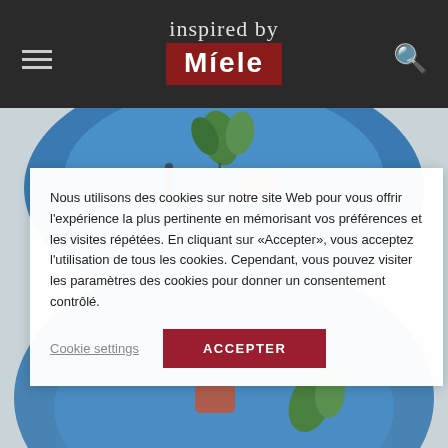inspired by Miele
[Figure (photo): Food photo showing a blue plate with a piece of food garnished with green herbs/leaves on a light background, visible at top and bottom of page behind the cookie consent dialog]
Nous utilisons des cookies sur notre site Web pour vous offrir l'expérience la plus pertinente en mémorisant vos préférences et les visites répétées. En cliquant sur «Accepter», vous acceptez l'utilisation de tous les cookies. Cependant, vous pouvez visiter les paramètres des cookies pour donner un consentement contrôlé.
Cookie settings
ACCEPTER